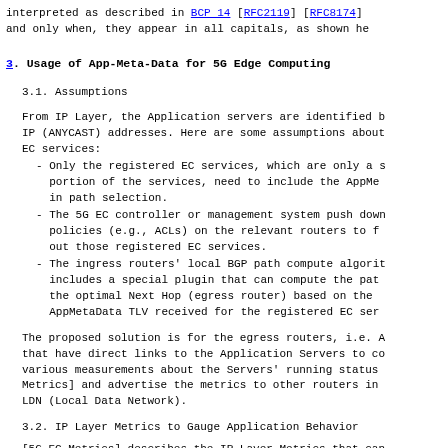interpreted as described in BCP 14 [RFC2119] [RFC8174]
and only when, they appear in all capitals, as shown he
3. Usage of App-Meta-Data for 5G Edge Computing
3.1. Assumptions
From IP Layer, the Application servers are identified b
IP (ANYCAST) addresses. Here are some assumptions about
EC services:
- Only the registered EC services, which are only a s
  portion of the services, need to include the AppMe
  in path selection.
- The 5G EC controller or management system push down
  policies (e.g., ACLs) on the relevant routers to f
  out those registered EC services.
- The ingress routers' local BGP path compute algorit
  includes a special plugin that can compute the pat
  the optimal Next Hop (egress router) based on the
  AppMetaData TLV received for the registered EC ser
The proposed solution is for the egress routers, i.e. A
that have direct links to the Application Servers to co
various measurements about the Servers' running status
Metrics] and advertise the metrics to other routers in
LDN (Local Data Network).
3.2. IP Layer Metrics to Gauge Application Behavior
[5G EC Metrics] describes the IP Layer Metrics that can